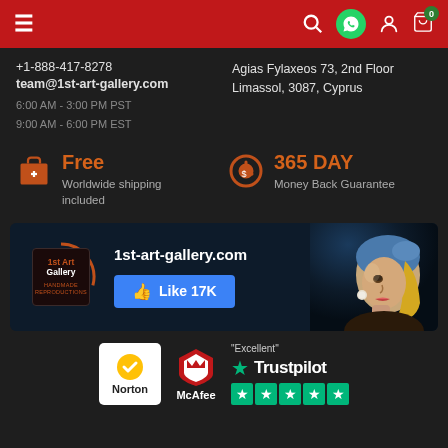Navigation bar with hamburger menu, search, WhatsApp, account, and cart (0) icons
+1-888-417-8278
team@1st-art-gallery.com
6:00 AM - 3:00 PM PST
9:00 AM - 6:00 PM EST
Agias Fylaxeos 73, 2nd Floor
Limassol, 3087, Cyprus
Free
Worldwide shipping included
365 DAY
Money Back Guarantee
[Figure (infographic): 1st Art Gallery Facebook banner with logo, URL '1st-art-gallery.com', Like 17K button, and Girl with a Pearl Earring painting]
[Figure (logo): Trust badges: Norton, McAfee, Trustpilot Excellent with 5 green stars]